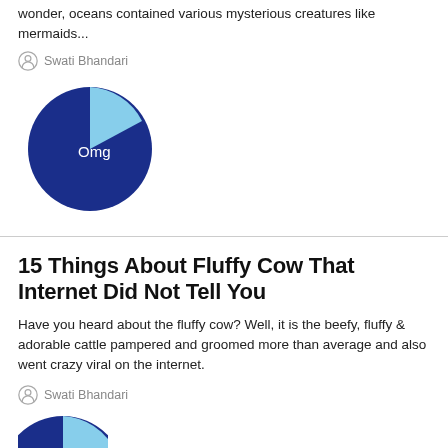wonder, oceans contained various mysterious creatures like mermaids...
Swati Bhandari
[Figure (pie-chart): A dark blue pie chart with a small light blue slice at top right, labeled 'Omg' in white text in the center of the large dark blue section.]
15 Things About Fluffy Cow That Internet Did Not Tell You
Have you heard about the fluffy cow? Well, it is the beefy, fluffy & adorable cattle pampered and groomed more than average and also went crazy viral on the internet.
Swati Bhandari
[Figure (pie-chart): Partial view of a dark blue pie chart at the bottom of the page.]